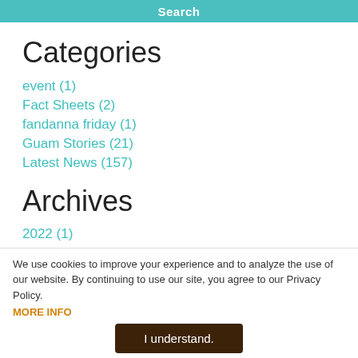Search
Categories
event (1)
Fact Sheets (2)
fandanna friday (1)
Guam Stories (21)
Latest News (157)
Archives
2022 (1)
2021 (1)
2020 (7)
We use cookies to improve your experience and to analyze the use of our website. By continuing to use our site, you agree to our Privacy Policy.
MORE INFO
I understand.